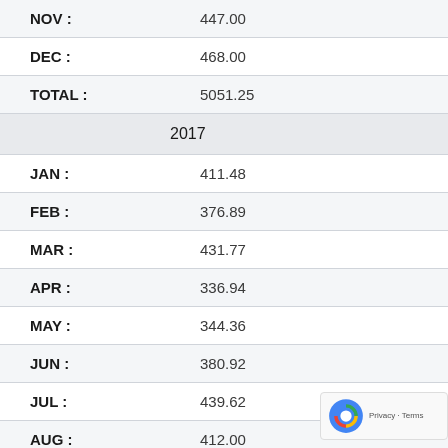| Month | Amount |
| --- | --- |
| NOV : | 447.00 |
| DEC : | 468.00 |
| TOTAL : | 5051.25 |
| 2017 |  |
| JAN : | 411.48 |
| FEB : | 376.89 |
| MAR : | 431.77 |
| APR : | 336.94 |
| MAY : | 344.36 |
| JUN : | 380.92 |
| JUL : | 439.62 |
| AUG : | 412.00 |
| SEP : | 413.00 |
| OCT : | 407.00 |
| NOV : | 406.00 |
| DEC : | 450.00 |